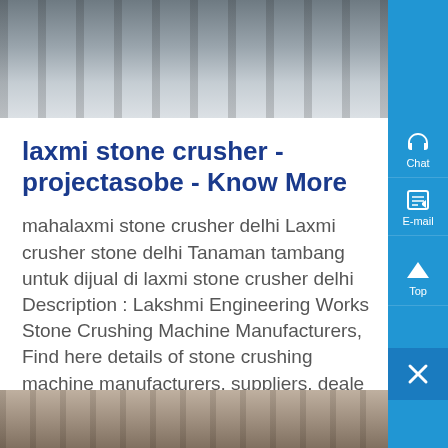[Figure (photo): Top strip image showing outdoor machinery or construction site with blurred background, dark vertical elements (poles/columns)]
laxmi stone crusher - projectasobe - Know More
mahalaxmi stone crusher delhi Laxmi crusher stone delhi Tanaman tambang untuk dijual di laxmi stone crusher delhi Description : Lakshmi Engineering Works Stone Crushing Machine Manufacturers, Find here details of stone crushing machine manufacturers, suppliers, dealers traders & ,...
[Figure (screenshot): Right sidebar with blue background showing Chat, E-mail, Top, and close (X) buttons]
[Figure (photo): Bottom strip image showing machinery or equipment detail]